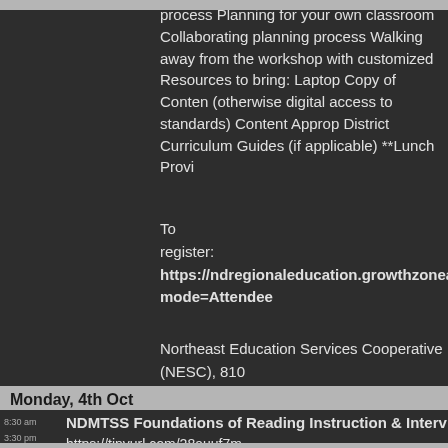process Planning for your own classroom Collaborating planning process Walking away from the workshop with customized  Resources to bring: Laptop Copy of Content (otherwise digital access to standards) Content Approp District Curriculum Guides (if applicable) **Lunch Provi
To register:  https://ndregionaleducation.growthzoneapp mode=Attendee
Northeast Education Services Cooperative (NESC), 810 USA
Monday, 4th Oct
8:30 am
3:30 pm  NDMTSS Foundations of Reading Instruction & Interv
https://tinyurl.com/28auuf7m
Tuesday, 5th Oct
8:30 am
11:45 am  NDMTSS - Leading Implementation of Systemic SEL Tr
https://members.ndrea.org/ndrea-events/Details/ndr systemic-sel-training-multi-day-series-2021-2022-33